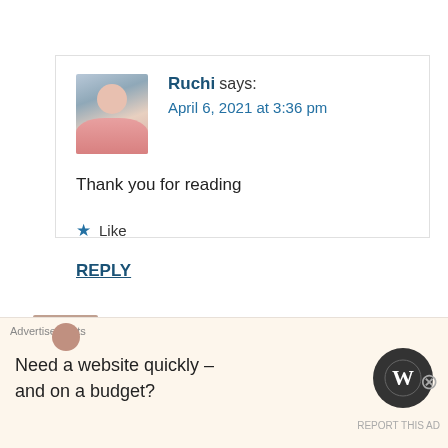[Figure (photo): Avatar photo of Ruchi - woman in pink top with outdoor background]
Ruchi says:
April 6, 2021 at 3:36 pm
Thank you for reading
★ Like
REPLY
[Figure (photo): Avatar photo of deepsreflections - woman with dark clothing]
deepsreflections says:
April 6, 2021 at 1:22 pm
Advertisements
Need a website quickly –
and on a budget?